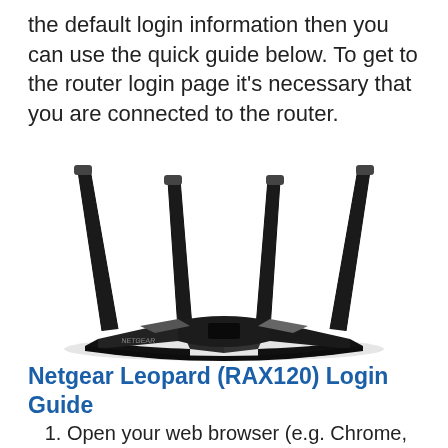the default login information then you can use the quick guide below. To get to the router login page it's necessary that you are connected to the router.
[Figure (photo): Netgear Leopard RAX120 router photograph showing a black router with four antennas spread outward, viewed from the front at a slight angle.]
Netgear Leopard (RAX120) Login Guide
1. Open your web browser (e.g. Chrome, Firefox, Opera or any other browser).